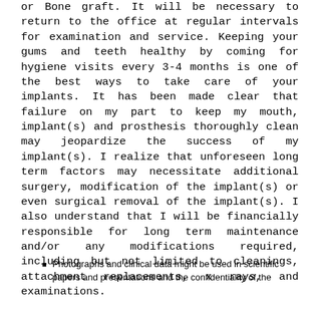or Bone graft. It will be necessary to return to the office at regular intervals for examination and service. Keeping your gums and teeth healthy by coming for hygiene visits every 3-4 months is one of the best ways to take care of your implants. It has been made clear that failure on my part to keep my mouth, implant(s) and prosthesis thoroughly clean may jeopardize the success of my implant(s). I realize that unforeseen long term factors may necessitate additional surgery, modification of the implant(s) or even surgical removal of the implant(s). I also understand that I will be financially responsible for long term maintenance and/or any modifications required, including but not limited to cleanings, attachment replacements, x rays, and examinations.
Photographs and clinical data might be used in scientific papers and presentations and the confidentiality of the